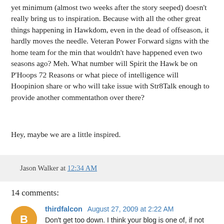yet minimum (almost two weeks after the story seeped) doesn't really bring us to inspiration. Because with all the other great things happening in Hawkdom, even in the dead of offseason, it hardly moves the needle. Veteran Power Forward signs with the home team for the min that wouldn't have happened even two seasons ago? Meh. What number will Spirit the Hawk be on P'Hoops 72 Reasons or what piece of intelligence will Hoopinion share or who will take issue with Str8Talk enough to provide another commentathon over there?
Hey, maybe we are a little inspired.
Jason Walker at 12:34 AM
14 comments:
thirdfalcon August 27, 2009 at 2:22 AM
Don't get too down. I think your blog is one of, if not the best Hawks blog I know of. I personally don't argue with